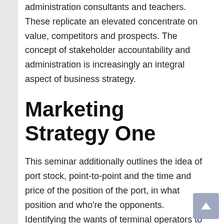administration consultants and teachers. These replicate an elevated concentrate on value, competitors and prospects. The concept of stakeholder accountability and administration is increasingly an integral aspect of business strategy.
Marketing Strategy One
This seminar additionally outlines the idea of port stock, point-to-point and the time and price of the position of the port, in what position and who're the opponents. Identifying the wants of terminal operators to have the power to outperform the competitors, until the contract manufacturing of terminal operators. The RC